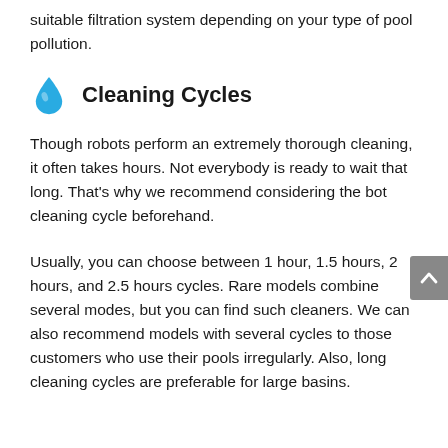suitable filtration system depending on your type of pool pollution.
Cleaning Cycles
Though robots perform an extremely thorough cleaning, it often takes hours. Not everybody is ready to wait that long. That’s why we recommend considering the bot cleaning cycle beforehand.
Usually, you can choose between 1 hour, 1.5 hours, 2 hours, and 2.5 hours cycles. Rare models combine several modes, but you can find such cleaners. We can also recommend models with several cycles to those customers who use their pools irregularly. Also, long cleaning cycles are preferable for large basins.